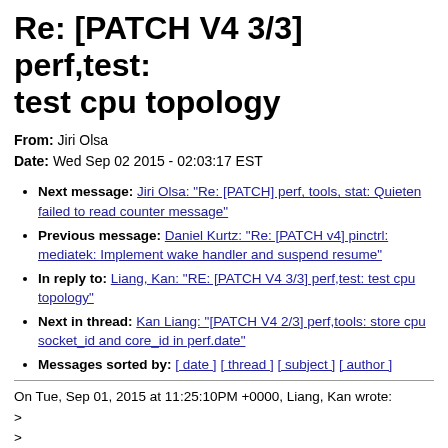Re: [PATCH V4 3/3] perf,test: test cpu topology
From: Jiri Olsa
Date: Wed Sep 02 2015 - 02:03:17 EST
Next message: Jiri Olsa: "Re: [PATCH] perf, tools, stat: Quieten failed to read counter message"
Previous message: Daniel Kurtz: "Re: [PATCH v4] pinctrl: mediatek: Implement wake handler and suspend resume"
In reply to: Liang, Kan: "RE: [PATCH V4 3/3] perf,test: test cpu topology"
Next in thread: Kan Liang: "[PATCH V4 2/3] perf,tools: store cpu socket_id and core_id in perf.date"
Messages sorted by: [ date ] [ thread ] [ subject ] [ author ]
On Tue, Sep 01, 2015 at 11:25:10PM +0000, Liang, Kan wrote:
>
>
> >
> > Em Tue, Sep 01, 2015 at 09:58:13AM -0400, Kan Liang escreveu: